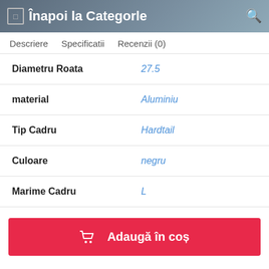Înapoi la Categorle
Descriere   Specificatii   Recenzii (0)
| Attribute | Value |
| --- | --- |
| Diametru Roata | 27.5 |
| material | Aluminiu |
| Tip Cadru | Hardtail |
| Culoare | negru |
| Marime Cadru | L |
Adaugă în coș